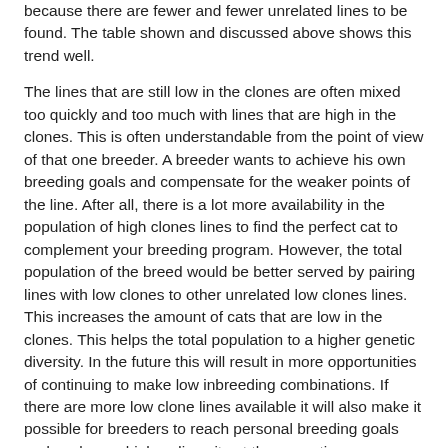because there are fewer and fewer unrelated lines to be found. The table shown and discussed above shows this trend well.
The lines that are still low in the clones are often mixed too quickly and too much with lines that are high in the clones. This is often understandable from the point of view of that one breeder. A breeder wants to achieve his own breeding goals and compensate for the weaker points of the line. After all, there is a lot more availability in the population of high clones lines to find the perfect cat to complement your breeding program. However, the total population of the breed would be better served by pairing lines with low clones to other unrelated low clones lines. This increases the amount of cats that are low in the clones. This helps the total population to a higher genetic diversity. In the future this will result in more opportunities of continuing to make low inbreeding combinations. If there are more low clone lines available it will also make it possible for breeders to reach personal breeding goals and work on a higher diversity at the same time.